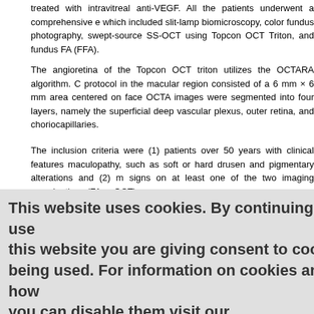treated with intravitreal anti-VEGF. All the patients underwent a comprehensive which included slit-lamp biomicroscopy, color fundus photography, swept-source SS-OCT using Topcon OCT Triton, and fundus FA (FFA).
The angioretina of the Topcon OCT triton utilizes the OCTARA algorithm. C protocol in the macular region consisted of a 6 mm × 6 mm area centered on face OCTA images were segmented into four layers, namely the superficial deep vascular plexus, outer retina, and choriocapillaries.
The inclusion criteria were (1) patients over 50 years with clinical features maculopathy, such as soft or hard drusen and pigmentary alterations and (2) m signs on at least one of the two imaging examinations (FA or OCT)
The exclusion criteria were (1) patients without OCTA or FA results available patients with CNV secondary to pathological myopia, angioid streaks, chorio serous chorioretinopathy, tumors, or trauma, (3) media opacities, such as cata being used. For information on cookies and how or laser photoco laser menthat you can disable them visit our
Privacy and Cookie Policy.
For FA, according to the criteria of the Macular Photocoagulation Study,[12],[13] were graded as classic, occult, and combination. Classic CNV was defined as an and early (<30 s) hyperfluorescence throughout the middle and late pha was identified by fibrovascular pigment epithelial detachment (stippled hyperfluor phase leakage of an undetermined source. CNV was graded as combined whe features of both classic and occult CNV.